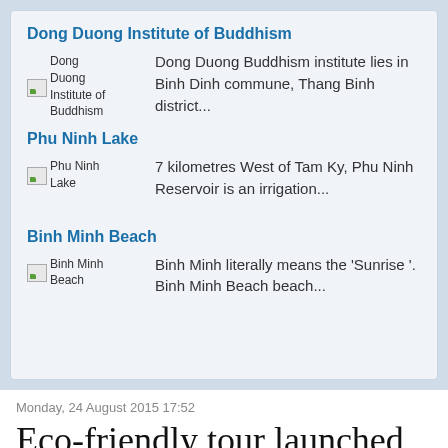Dong Duong Institute of Buddhism
[Figure (photo): Placeholder image for Dong Duong Institute of Buddhism]
Dong Duong Buddhism institute lies in Binh Dinh commune, Thang Binh district...
Phu Ninh Lake
[Figure (photo): Placeholder image for Phu Ninh Lake]
7 kilometres West of Tam Ky, Phu Ninh Reservoir is an irrigation...
Binh Minh Beach
[Figure (photo): Placeholder image for Binh Minh Beach]
Binh Minh literally means the 'Sunrise '. Binh Minh Beach beach...
Monday, 24 August 2015 17:52
Eco-friendly tour launched